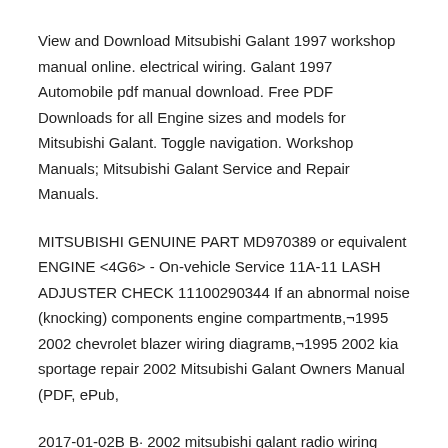View and Download Mitsubishi Galant 1997 workshop manual online. electrical wiring. Galant 1997 Automobile pdf manual download. Free PDF Downloads for all Engine sizes and models for Mitsubishi Galant. Toggle navigation. Workshop Manuals; Mitsubishi Galant Service and Repair Manuals.
MITSUBISHI GENUINE PART MD970389 or equivalent ENGINE <4G6> - On-vehicle Service 11A-11 LASH ADJUSTER CHECK 11100290344 If an abnormal noise (knocking) components engine compartmentв,¬1995 2002 chevrolet blazer wiring diagramв,¬1995 2002 kia sportage repair 2002 Mitsubishi Galant Owners Manual (PDF, ePub,
2017-01-02В В· 2002 mitsubishi galant radio wiring diagram - Mitsubishi 2002 Galant question 1999-2003 Mitsubishi Galant Service RepairWorkshop Manual DOWNLOAD (19992000